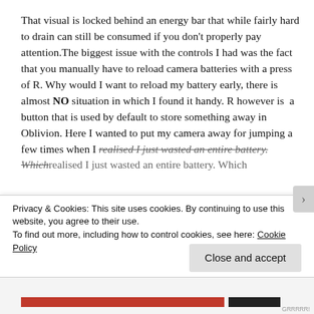That visual is locked behind an energy bar that while fairly hard to drain can still be consumed if you don't properly pay attention.The biggest issue with the controls I had was the fact that you manually have to reload camera batteries with a press of R. Why would I want to reload my battery early, there is almost NO situation in which I found it handy. R however is  a button that is used by default to store something away in Oblivion. Here I wanted to put my camera away for jumping a few times when I realised I just wasted an entire battery. Which
Privacy & Cookies: This site uses cookies. By continuing to use this website, you agree to their use.
To find out more, including how to control cookies, see here: Cookie Policy